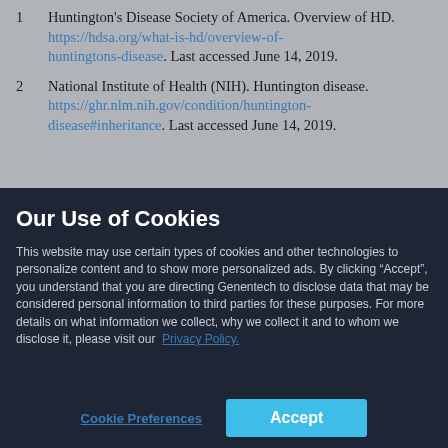1. Huntington's Disease Society of America. Overview of HD. https://hdsa.org/what-is-hd/overview-of-huntingtons-disease. Last accessed June 14, 2019.
2. National Institute of Health (NIH). Huntington disease. https://ghr.nlm.nih.gov/condition/huntington-disease#inheritance. Last accessed June 14, 2019.
Our Use of Cookies
This website may use certain types of cookies and other technologies to personalize content and to show more personalized ads. By clicking “Accept”, you understand that you are directing Genentech to disclose data that may be considered personal information to third parties for these purposes. For more details on what information we collect, why we collect it and to whom we disclose it, please visit our Privacy Policy.